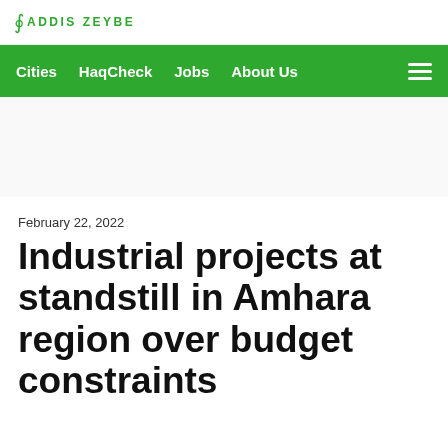ADDIS ZEYBE
Cities  HaqCheck  Jobs  About Us
February 22, 2022
Industrial projects at standstill in Amhara region over budget constraints